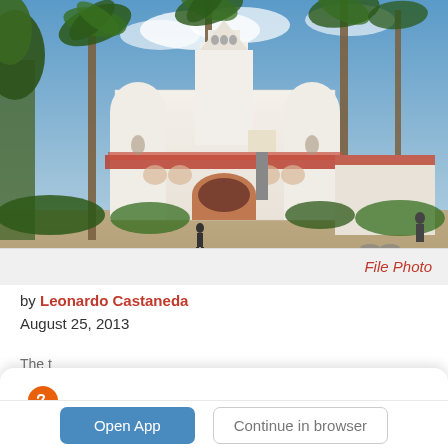[Figure (photo): Photograph of a white Spanish Colonial Revival style university building (SDSU Hepner Hall) with palm trees, red tile roof, bell tower, and students in the foreground plaza.]
File Photo
by Leonardo Castaneda
August 25, 2013
Read this story in The Source App...
Open App   Continue in browser